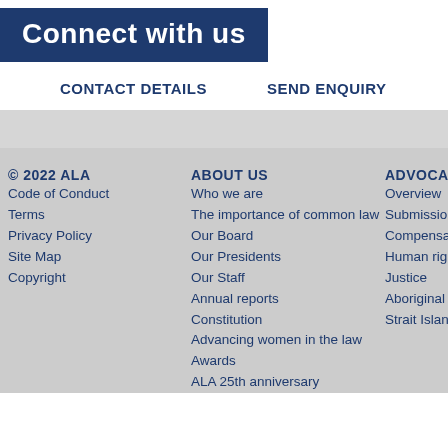Connect with us
CONTACT DETAILS
SEND ENQUIRY
© 2022 ALA
Code of Conduct
Terms
Privacy Policy
Site Map
Copyright
ABOUT US
Who we are
The importance of common law
Our Board
Our Presidents
Our Staff
Annual reports
Constitution
Advancing women in the law
Awards
ALA 25th anniversary
ADVOCACY
Overview
Submissions
Compensation
Human rights
Justice
Aboriginal and Torre Strait Islander justice